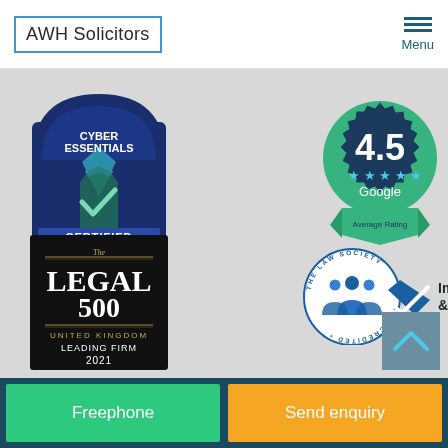AWH Solicitors — Menu
[Figure (logo): Cyber Essentials Certified badge — dark blue shield/arch shape with green checkmark, text: CYBER ESSENTIALS CERTIFIED]
[Figure (logo): Google Average Rating badge — dark navy scalloped circle with green border, showing 4.5 rating with stars and Google text]
[Figure (logo): The Legal 500 United Kingdom Leading Firm 2021 — black rectangle badge with serif typography]
[Figure (logo): The Law Society Accredited — Immigration & Asylum badge with circular seal and people icon]
Freephone | Send enquiry